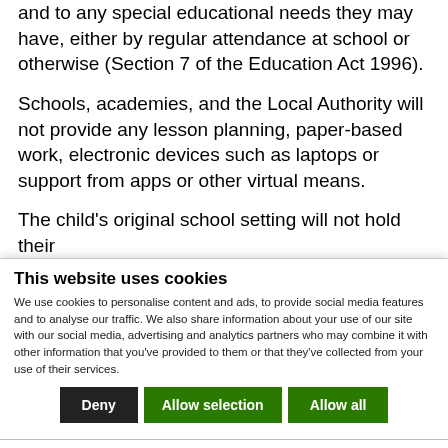and to any special educational needs they may have, either by regular attendance at school or otherwise (Section 7 of the Education Act 1996).
Schools, academies, and the Local Authority will not provide any lesson planning, paper-based work, electronic devices such as laptops or support from apps or other virtual means.
The child's original school setting will not hold their
This website uses cookies
We use cookies to personalise content and ads, to provide social media features and to analyse our traffic. We also share information about your use of our site with our social media, advertising and analytics partners who may combine it with other information that you've provided to them or that they've collected from your use of their services.